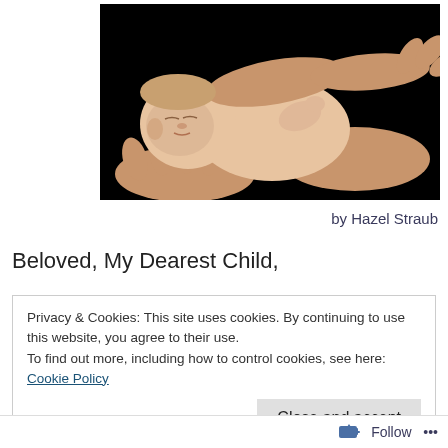[Figure (photo): A newborn baby sleeping in adult hands against a black background, photographed in a professional studio style.]
by Hazel Straub
Beloved, My Dearest Child,
Privacy & Cookies: This site uses cookies. By continuing to use this website, you agree to their use.
To find out more, including how to control cookies, see here: Cookie Policy
Follow ...